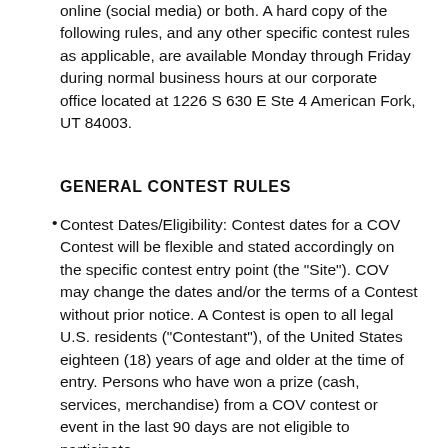online (social media) or both. A hard copy of the following rules, and any other specific contest rules as applicable, are available Monday through Friday during normal business hours at our corporate office located at 1226 S 630 E Ste 4 American Fork, UT 84003.
GENERAL CONTEST RULES
Contest Dates/Eligibility: Contest dates for a COV Contest will be flexible and stated accordingly on the specific contest entry point (the "Site"). COV may change the dates and/or the terms of a Contest without prior notice. A Contest is open to all legal U.S. residents ("Contestant"), of the United States eighteen (18) years of age and older at the time of entry. Persons who have won a prize (cash, services, merchandise) from a COV contest or event in the last 90 days are not eligible to participate